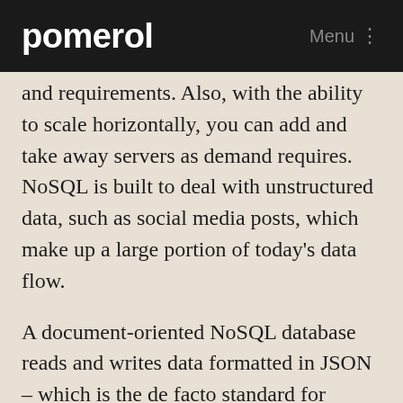pomerol   Menu
and requirements. Also, with the ability to scale horizontally, you can add and take away servers as demand requires. NoSQL is built to deal with unstructured data, such as social media posts, which make up a large portion of today’s data flow.
A document-oriented NoSQL database reads and writes data formatted in JSON – which is the de facto standard for consuming and producing data for web, mobile, and IoT applications. The database simplifies application development because objects are read and written without “shredding” them